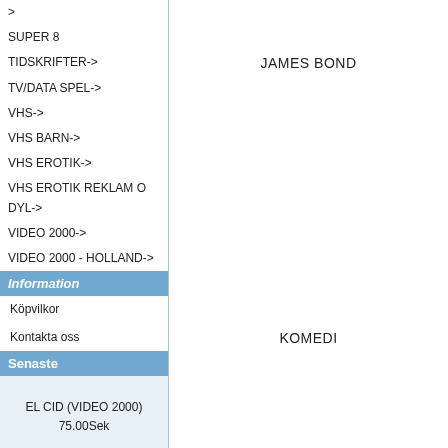>
SUPER 8
TIDSKRIFTER->
TV/DATA SPEL->
VHS->
VHS BARN->
VHS EROTIK->
VHS EROTIK REKLAM O DYL->
VIDEO 2000->
VIDEO 2000 - HOLLAND->
Information
Köpvilkor
Kontakta oss
Senaste
EL CID (VIDEO 2000)
75.00Sek
JAMES BOND
KOMEDI